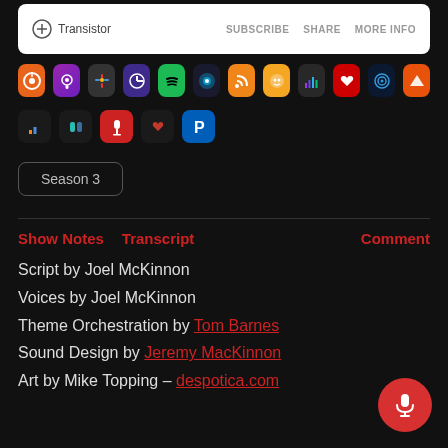[Figure (screenshot): Transistor podcast embed player top bar with logo, SUBSCRIBE, SHARE, MORE INFO links]
[Figure (infographic): Row 1 of podcast app icons: Overcast, Apple Podcasts, Google Podcasts, Pocket Casts, Spotify, Podcast Addict, RSS, Podbean, Deezer, iHeartRadio, Pocket Casts alt, Castro]
[Figure (infographic): Row 2 of podcast app icons: Podchaser, Goodpods, Podcast Republic, Player FM, Pandora]
Season 3
Show Notes   Transcript   Comment
Script by Joel McKinnon
Voices by Joel McKinnon
Theme Orchestration by Tom Barnes
Sound Design by Jeremy MacKinnon
Art by Mike Topping – despotica.com